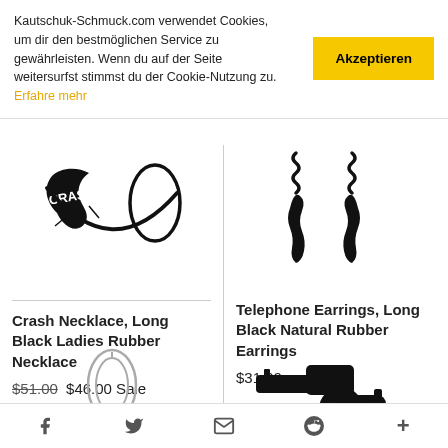Kautschuk-Schmuck.com verwendet Cookies, um dir den bestmöglichen Service zu gewährleisten. Wenn du auf der Seite weitersurfst stimmst du der Cookie-Nutzung zu. Erfahre mehr
[Figure (illustration): Crash Necklace product image - black graphic necklace with crash text logo]
Crash Necklace, Long Black Ladies Rubber Necklace
$51.00 $46.00 Sale
[Figure (illustration): Telephone Earrings product image - black rubber telephone-shaped long earrings]
Telephone Earrings, Long Black Natural Rubber Earrings
$31.00
[Figure (illustration): Star-shaped earring product image in gray]
[Figure (illustration): Gun-shaped rubber product image in black]
f  twitter  email  pinterest  +